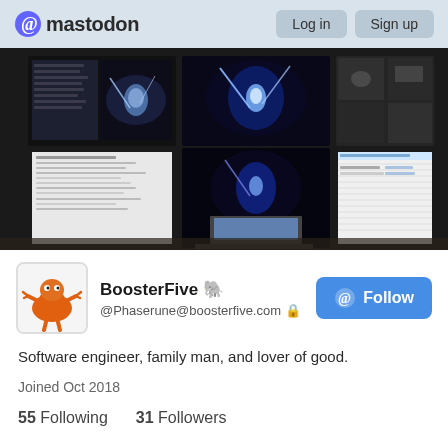mastodon   Log in   Sign up
[Figure (photo): A desk setup with multiple monitors displaying various content including a screensaver/space imagery, code editors, and browser windows, with a laptop in the foreground]
BoosterFive 🐘
@Phaserune@boosterfive.com 🔒
Software engineer, family man, and lover of good.
Joined Oct 2018
55 Following    31 Followers